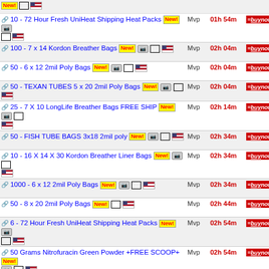10 - 72 Hour Fresh UniHeat Shipping Heat Packs | Mvp | 01h 54m | buynow | 27.99
100 - 7 x 14 Kordon Breather Bags | Mvp | 02h 04m | buynow | 94.99
50 - 6 x 12 2mil Poly Bags | Mvp | 02h 04m | buynow | 2.95
50 - TEXAN TUBES 5 x 20 2mil Poly Bags | Mvp | 02h 04m | buynow | 3.15
25 - 7 X 10 LongLife Breather Bags FREE SHIP | Mvp | 02h 14m | buynow | 10.90
50 - FISH TUBE BAGS 3x18 2mil poly | Mvp | 02h 34m | buynow | 3.50
10 - 16 X 14 X 30 Kordon Breather Liner Bags | Mvp | 02h 34m | buynow | 15.99
1000 - 6 x 12 2mil Poly Bags | Mvp | 02h 34m | buynow | 49.95
50 - 8 x 20 2mil Poly Bags | Mvp | 02h 44m | buynow | 3.99
6 - 72 Hour Fresh UniHeat Shipping Heat Packs | Mvp | 02h 54m | buynow | 22.89
50 Grams Nitrofuracin Green Powder +FREE SCOOP+ | Mvp | 02h 54m | buynow | 16.00